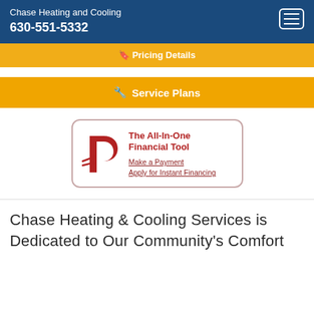Chase Heating and Cooling
630-551-5332
Pricing Details
Service Plans
[Figure (logo): PaySign or similar payment logo with a red stylized 'P' and the text 'The All-In-One Financial Tool', with links 'Make a Payment' and 'Apply for Instant Financing']
Chase Heating & Cooling Services is Dedicated to Our Community's Comfort